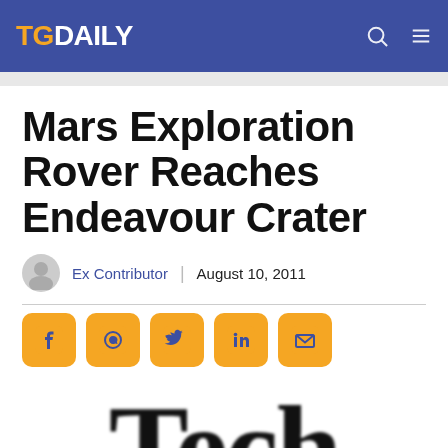TG DAILY
Mars Exploration Rover Reaches Endeavour Crater
Ex Contributor | August 10, 2011
[Figure (infographic): Social share buttons: Facebook, WhatsApp, Twitter, LinkedIn, Email]
[Figure (photo): Partial 'Tech' word shown in large serif font, blurred/cropped at bottom of page]